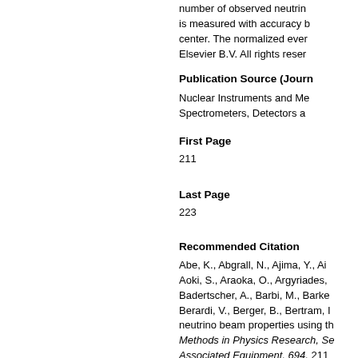number of observed neutrinos is measured with accuracy b center. The normalized ever Elsevier B.V. All rights reser
Publication Source (Journ
Nuclear Instruments and Me Spectrometers, Detectors a
First Page
211
Last Page
223
Recommended Citation
Abe, K., Abgrall, N., Ajima, Y., Ai Aoki, S., Araoka, O., Argyriades, Badertscher, A., Barbi, M., Barke Berardi, V., Berger, B., Bertram, I neutrino beam properties using th Methods in Physics Research, Se Associated Equipment, 694, 211